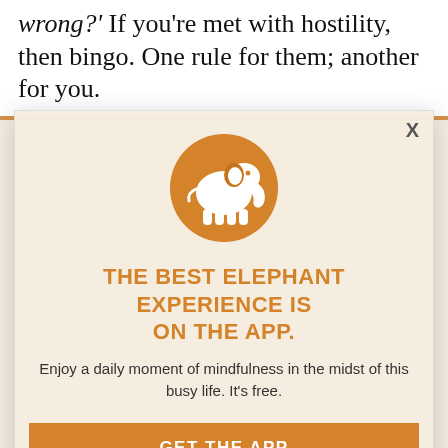wrong?' If you're met with hostility, then bingo. One rule for them; another for you.
4. "You need to let it go." "Why do you bring up the past so much?" "It wasn't a big deal."

As invalidation is so central a part of the abusive relationship, the abusers tend to be the arbiters of how you're allowed hold onto...

they're not the...it's up to...
them, they don't get to tell you how much they've hurt you...you need to carry?...aim for—you do. You do. As
[Figure (illustration): Orange circle with white elephant silhouette logo]
THE BEST ELEPHANT EXPERIENCE IS ON THE APP.
Enjoy a daily moment of mindfulness in the midst of this busy life. It's free.
GET THE APP
OPEN IN APP